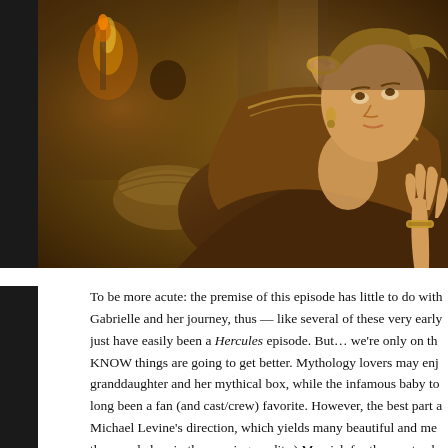[Figure (photo): A woman in ancient/medieval costume with ornate jewelry and layered robes, looking upward with one hand raised, in a dimly lit rustic setting with baskets and torch light visible in the background.]
To be more acute: the premise of this episode has little to do with Gabrielle and her journey, thus — like several of these very early just have easily been a Hercules episode. But… we're only on th KNOW things are going to get better. Mythology lovers may enj granddaughter and her mythical box, while the infamous baby to long been a fan (and cast/crew) favorite. However, the best part a Michael Levine's direction, which yields many beautiful and me these ended up in the opening credits.) My pick for the most exh Xena breathes fire for the first time — just awesome!